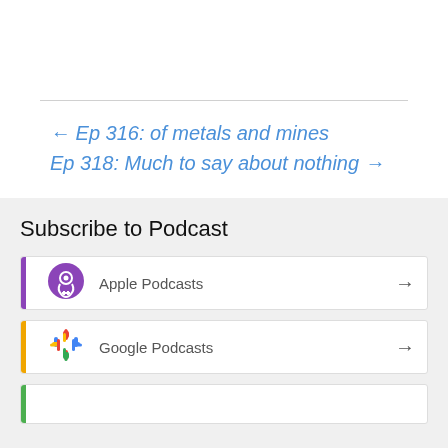← Ep 316: of metals and mines
Ep 318: Much to say about nothing →
Subscribe to Podcast
Apple Podcasts
Google Podcasts